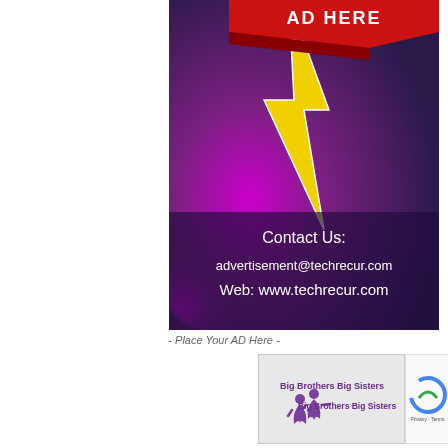[Figure (illustration): Advertisement banner with colorful purple and magenta background, yellow lightning bolt graphic, red banner ribbon at top with text 'AD HERE', and contact information overlay at bottom: 'Contact Us: advertisement@techrecur.com Web: www.techrecur.com']
- Place Your AD Here -
[Figure (logo): Big Brothers Big Sisters logo with purple figures and text]
[Figure (other): Google reCAPTCHA badge with Privacy and Terms links]